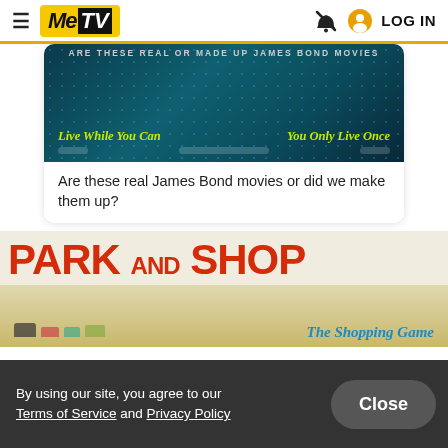MeTV — LOG IN
[Figure (screenshot): James Bond quiz banner showing teal/dark background with text 'ARE THESE REAL OR MADE UP JAMES BOND MOVIES' and two choices in yellow-green: 'LIVE WHILE YOU CAN' and 'YOU ONLY LIVE ONCE']
Are these real James Bond movies or did we make them up?
[Figure (photo): Park and Shop board game image showing red bold text 'PARK AND SHOP' on a light background, with a scene of cars at a shopping area and 'The Shopping Game' text in blue italic]
By using our site, you agree to our Terms of Service and Privacy Policy
Close